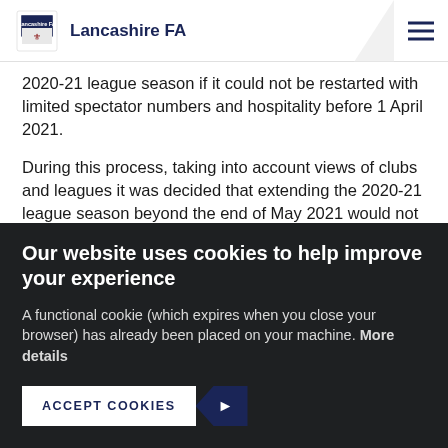Lancashire FA
2020-21 league season if it could not be restarted with limited spectator numbers and hospitality before 1 April 2021.
During this process, taking into account views of clubs and leagues it was decided that extending the 2020-21 league season beyond the end of May 2021 would not be a viable option. This was due to various considerations, including
Our website uses cookies to help improve your experience
A functional cookie (which expires when you close your browser) has already been placed on your machine. More details
ACCEPT COOKIES